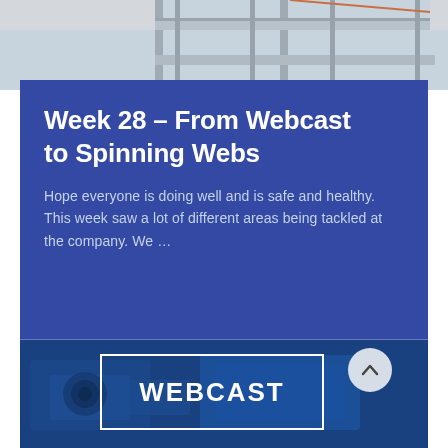[Figure (photo): Top photo strip showing industrial/manufacturing equipment with metal frames and rails, grey and white tones]
Week 28 – From Webcast to Spinning Webs
Hope everyone is doing well and is safe and healthy. This week saw a lot of different areas being tackled at the company. We …
[Figure (photo): Bottom photo showing a video camera or broadcasting equipment in blue tones, with a white-bordered box overlay reading WEBCAST and a circular scroll-up arrow button]